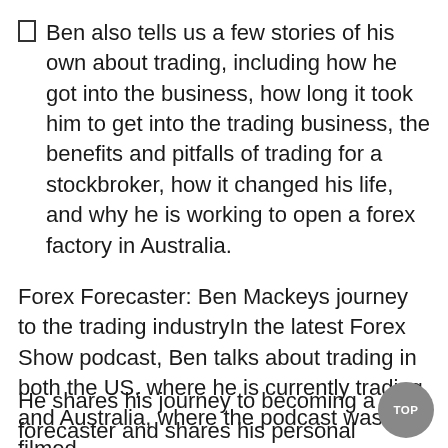Ben also tells us a few stories of his own about trading, including how he got into the business, how long it took him to get into the trading business, the benefits and pitfalls of trading for a stockbroker, how it changed his life, and why he is working to open a forex factory in Australia.
Forex Forecaster: Ben Mackeys journey to the trading industryIn the latest Forex Show podcast, Ben talks about trading in both the US, where he is currently trading, and Australia, where the podcast was filmed.
He shares his journey to becoming a forecaster and shares his personal insights into the world of